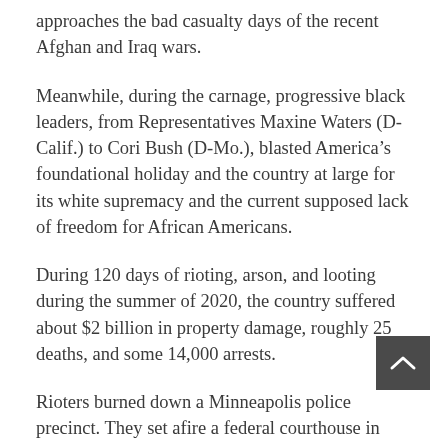approaches the bad casualty days of the recent Afghan and Iraq wars.
Meanwhile, during the carnage, progressive black leaders, from Representatives Maxine Waters (D-Calif.) to Cori Bush (D-Mo.), blasted America’s foundational holiday and the country at large for its white supremacy and the current supposed lack of freedom for African Americans.
During 120 days of rioting, arson, and looting during the summer of 2020, the country suffered about $2 billion in property damage, roughly 25 deaths, and some 14,000 arrests.
Rioters burned down a Minneapolis police precinct. They set afire a federal courthouse in Portland. And they tried to incinerate the historic St. John’s Episcopal Church next to the White House. Downtown areas of Portland and Seattle were taken over by rioters, who occupied entire city blocks with impunity.